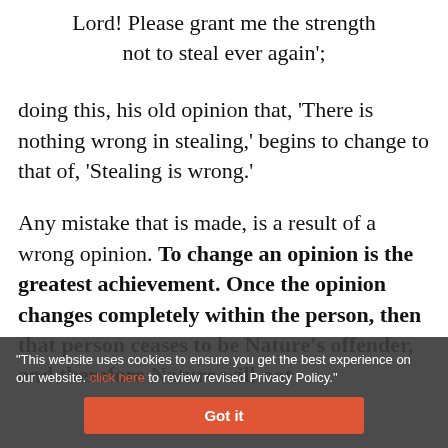Lord! Please grant me the strength not to steal ever again';
doing this, his old opinion that, 'There is nothing wrong in stealing,' begins to change to that of, 'Stealing is wrong.'
Any mistake that is made, is a result of a wrong opinion. To change an opinion is the greatest achievement. Once the opinion changes completely within the person, then that person ceases to be Nature's offender, and therefore Nature will not
"This website uses cookies to ensure you get the best experience on our website. click here to review revised Privacy Policy."
Got it